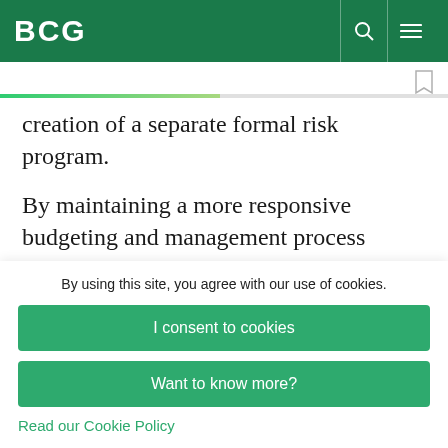BCG
creation of a separate formal risk program.
By maintaining a more responsive budgeting and management process around emerging risks, the leading OR institutions in our benchmark are better able to respond to a dynamic risk
By using this site, you agree with our use of cookies.
I consent to cookies
Want to know more?
Read our Cookie Policy